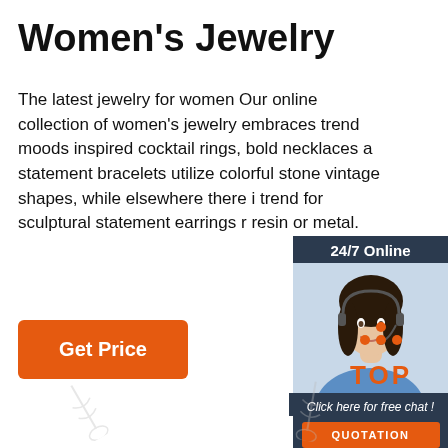Women's Jewelry
The latest jewelry for women Our online collection of women's jewelry embraces trend moods inspired cocktail rings, bold necklaces a statement bracelets utilize colorful stone vintage shapes, while elsewhere there i trend for sculptural statement earrings r resin or metal.
[Figure (photo): Chat widget with woman wearing headset, 24/7 Online banner, Click here for free chat, and QUOTATION button]
Get Price
[Figure (logo): TOP logo with orange dots above the text TOP in orange letters]